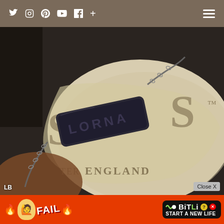Social media icons: Twitter, Instagram, Pinterest, YouTube, Facebook, Plus | Hamburger menu
[Figure (photo): Close-up photo of a dark metallic plate charm reading 'LORNA' on a chain, placed over a cream/beige fabric bag with text 'S...S™' and 'ENGLAND' (Lorna Jane brand bag). The bag is resting on a dark jacket and brown leather surface.]
LB
Close X
[Figure (screenshot): Advertisement banner for BitLife game with orange/red background: 'FAIL' text and animated character on left, BitLife logo with 'START A NEW LIFE' text on right.]